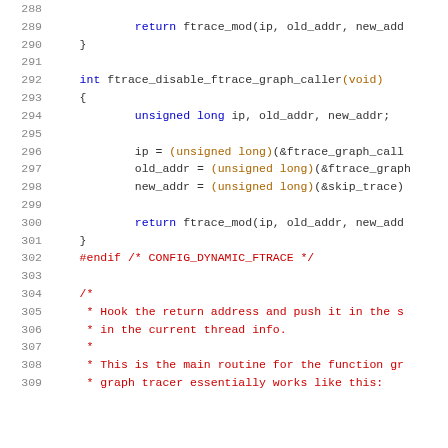Source code listing, lines 288-309, C programming language with syntax highlighting
288 (blank)
289     return ftrace_mod(ip, old_addr, new_addr
290 }
291 (blank)
292 int ftrace_disable_ftrace_graph_caller(void)
293 {
294         unsigned long ip, old_addr, new_addr;
295 (blank)
296         ip = (unsigned long)(&ftrace_graph_call
297         old_addr = (unsigned long)(&ftrace_graph
298         new_addr = (unsigned long)(&skip_trace)
299 (blank)
300         return ftrace_mod(ip, old_addr, new_add
301 }
302 #endif /* CONFIG_DYNAMIC_FTRACE */
303 (blank)
304 /*
305  * Hook the return address and push it in the s
306  * in the current thread info.
307  *
308  * This is the main routine for the function gr
309  * graph tracer essentially works like this: